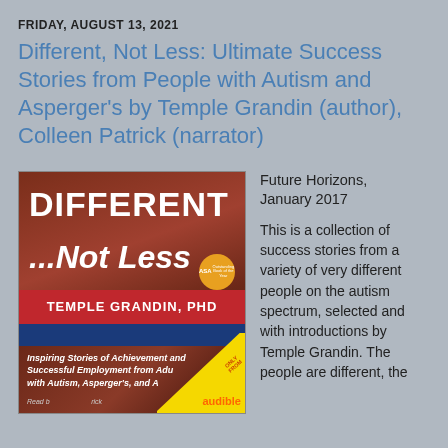FRIDAY, AUGUST 13, 2021
Different, Not Less: Ultimate Success Stories from People with Autism and Asperger's by Temple Grandin (author), Colleen Patrick (narrator)
[Figure (photo): Book cover of 'Different ...Not Less' by Temple Grandin PhD, published by Future Horizons, with Audible branding and ASA badge]
Future Horizons, January 2017
This is a collection of success stories from a variety of very different people on the autism spectrum, selected and with introductions by Temple Grandin. The people are different, the